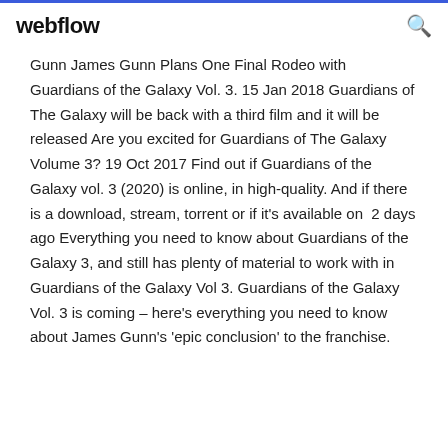webflow
Gunn James Gunn Plans One Final Rodeo with Guardians of the Galaxy Vol. 3. 15 Jan 2018 Guardians of The Galaxy will be back with a third film and it will be released Are you excited for Guardians of The Galaxy Volume 3? 19 Oct 2017 Find out if Guardians of the Galaxy vol. 3 (2020) is online, in high-quality. And if there is a download, stream, torrent or if it's available on  2 days ago Everything you need to know about Guardians of the Galaxy 3, and still has plenty of material to work with in Guardians of the Galaxy Vol 3. Guardians of the Galaxy Vol. 3 is coming – here's everything you need to know about James Gunn's 'epic conclusion' to the franchise.